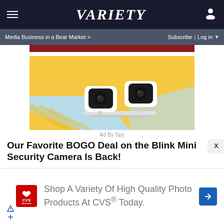VARIETY — Media Business in a Bear Market > | Subscribe | Log in
[Figure (photo): Partial red banner image at top of content area]
[Figure (photo): Two Blink Mini security cameras on yellow and light blue geometric background — product advertisement image]
Ad By Spy
Our Favorite BOGO Deal on the Blink Mini Security Camera Is Back!
[Figure (photo): CVS Pharmacy advertisement — Shop A Variety Of High Quality Photo Products At CVS® Today.]